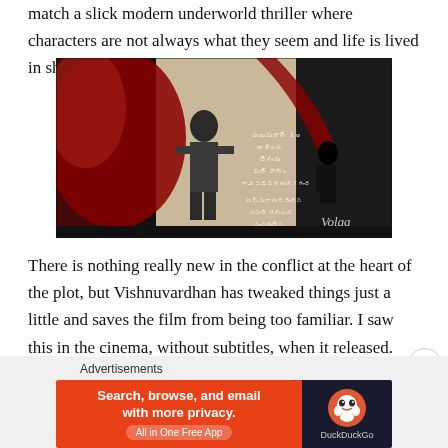match a slick modern underworld thriller where characters are not always what they seem and life is lived in shades of grey.
[Figure (photo): Movie title card/poster image showing stylized artwork with a man in a suit, dark red and black tones, Telugu text overlaid, and 'Volga' watermark in bottom right corner]
There is nothing really new in the conflict at the heart of the plot, but Vishnuvardhan has tweaked things just a little and saves the film from being too familiar. I saw this in the cinema, without subtitles, when it released. While the basic plot and motivations were clear, I enjoyed seeing it again on a subtitled
Advertisements
[Figure (screenshot): DuckDuckGo advertisement banner: orange-red left side with text 'Search, browse, and email with more privacy. All in One Free App' and dark right side with DuckDuckGo logo and duck icon]